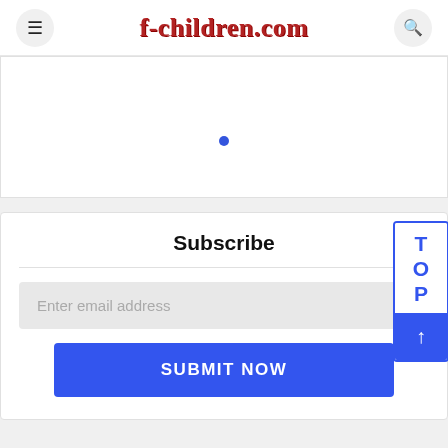f-children.com
[Figure (screenshot): White content card with a single blue dot in the center]
Subscribe
Enter email address
SUBMIT NOW